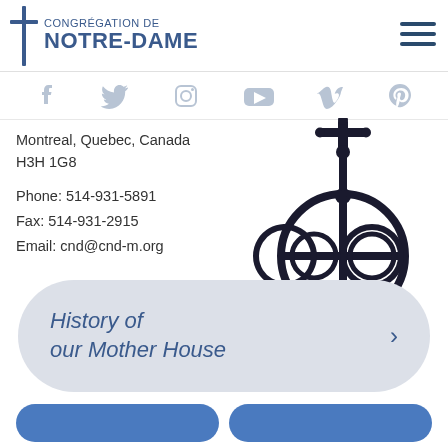CONGRÉGATION DE NOTRE-DAME
Montreal, Quebec, Canada
H3H 1G8

Phone: 514-931-5891
Fax: 514-931-2915
Email: cnd@cnd-m.org
[Figure (illustration): Decorative black ironwork finial with cross on top and circular ornamental pattern below]
History of our Mother House
[Figure (other): Two blue rounded button placeholders at bottom of page]